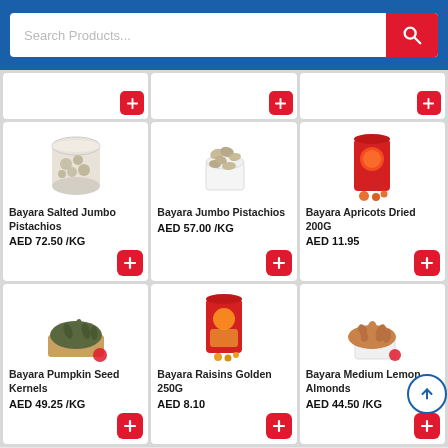Search Products
[Figure (screenshot): Top row of 3 partial product cards with red add (+) buttons visible at bottom]
[Figure (photo): Bayara Salted Jumbo Pistachios - clear container]
Bayara Salted Jumbo Pistachios
AED  72.50 /KG
[Figure (photo): Bayara Jumbo Pistachios - bowl of pistachios]
Bayara Jumbo Pistachios
AED  57.00 /KG
[Figure (photo): Bayara Apricots Dried 200G - red branded bag]
Bayara Apricots Dried 200G
AED  11.95
[Figure (photo): Bayara Pumpkin Seed Kernels - seeds on wood board]
Bayara Pumpkin Seed Kernels
AED  49.25 /KG
[Figure (photo): Bayara Raisins Golden 250G - red branded bag]
Bayara Raisins Golden 250G
AED  8.10
[Figure (photo): Bayara Medium Lemon Almonds - almonds in white tray]
Bayara Medium Lemon Almonds
AED  44.50 /KG